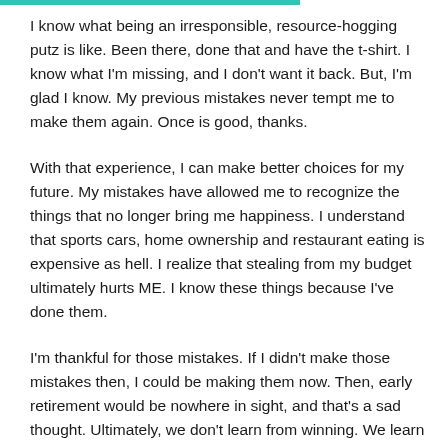I know what being an irresponsible, resource-hogging putz is like. Been there, done that and have the t-shirt. I know what I'm missing, and I don't want it back. But, I'm glad I know. My previous mistakes never tempt me to make them again. Once is good, thanks.
With that experience, I can make better choices for my future. My mistakes have allowed me to recognize the things that no longer bring me happiness. I understand that sports cars, home ownership and restaurant eating is expensive as hell. I realize that stealing from my budget ultimately hurts ME. I know these things because I've done them.
I'm thankful for those mistakes. If I didn't make those mistakes then, I could be making them now. Then, early retirement would be nowhere in sight, and that's a sad thought. Ultimately, we don't learn from winning. We learn by losing.